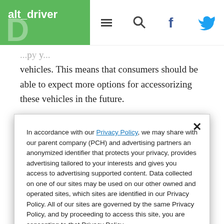alt_driver
vehicles. This means that consumers should be able to expect more options for accessorizing these vehicles in the future.
In accordance with our Privacy Policy, we may share with our parent company (PCH) and advertising partners an anonymized identifier that protects your privacy, provides advertising tailored to your interests and gives you access to advertising supported content. Data collected on one of our sites may be used on our other owned and operated sites, which sites are identified in our Privacy Policy. All of our sites are governed by the same Privacy Policy, and by proceeding to access this site, you are consenting to that Privacy Policy.